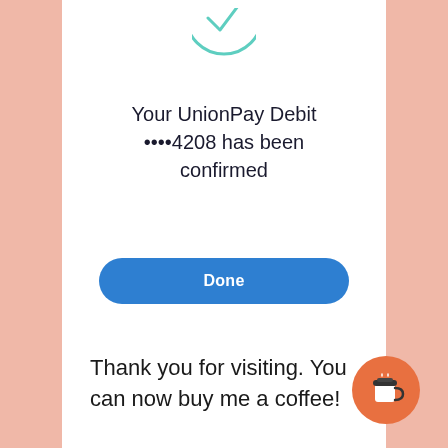[Figure (illustration): Partial teal/mint checkmark circle icon at the top of a white mobile screen]
Your UnionPay Debit ••••4208 has been confirmed
[Figure (other): Blue rounded rectangle Done button]
Thank you for visiting. You can now buy me a coffee!
[Figure (illustration): Orange circle with coffee cup icon (buy me a coffee widget)]